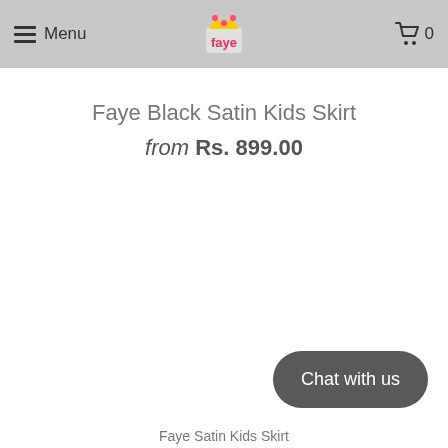Menu | Faye Logo | Cart 0
Faye Black Satin Kids Skirt
from Rs. 899.00
Chat with us
Faye Satin Kids Skirt